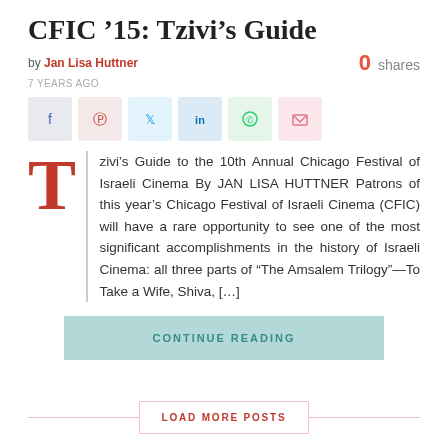CFIC '15: Tzivi's Guide
by Jan Lisa Huttner
0 shares
7 YEARS AGO
[Figure (infographic): Social sharing buttons: Facebook, Pinterest, Twitter, LinkedIn, WhatsApp, Email]
Tzivi's Guide to the 10th Annual Chicago Festival of Israeli Cinema By JAN LISA HUTTNER Patrons of this year's Chicago Festival of Israeli Cinema (CFIC) will have a rare opportunity to see one of the most significant accomplishments in the history of Israeli Cinema: all three parts of “The Amsalem Trilogy”—To Take a Wife, Shiva, […]
CONTINUE READING
LOAD MORE POSTS